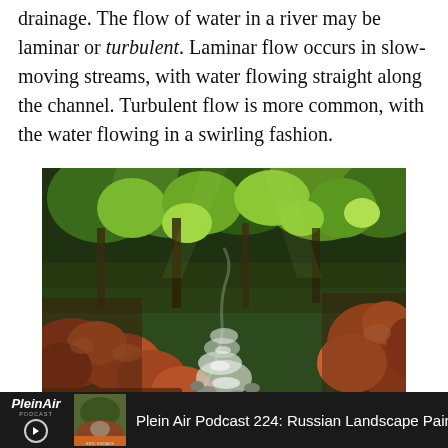drainage. The flow of water in a river may be laminar or turbulent. Laminar flow occurs in slow-moving streams, with water flowing straight along the channel. Turbulent flow is more common, with the water flowing in a swirling fashion.
[Figure (illustration): Oil painting of a rocky mountain stream with orange-brown boulders in the foreground and lush green trees in the background. A white water stream runs through the center of the composition.]
PleinAir Podcast 224: Russian Landscape Painter Zufar Bikbo